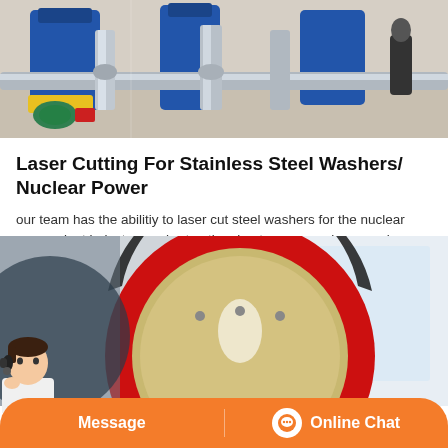[Figure (photo): Industrial laser cutting machinery with blue tanks and silver pipes/ducts in a factory setting, with a person standing in background.]
Laser Cutting For Stainless Steel Washers/ Nuclear Power
our team has the abilitiy to laser cut steel washers for the nuclear power plant industry on short notice due to our experience and capabilities.
[Figure (photo): Large circular industrial component with red outer ring and beige/cream inner surface, photographed from the side in an industrial facility.]